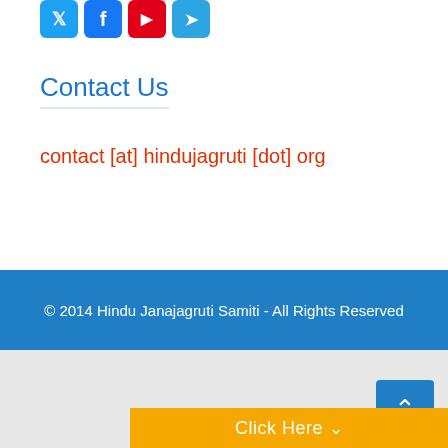[Figure (other): Social media icon buttons: Twitter (blue bird), Facebook (blue f), YouTube (red play), Telegram (blue paper plane)]
Contact Us
contact [at] hindujagruti [dot] org
© 2014 Hindu Janajagruti Samiti - All Rights Reserved
[Figure (other): Back to top button (blue chevron up arrow)]
Click Here